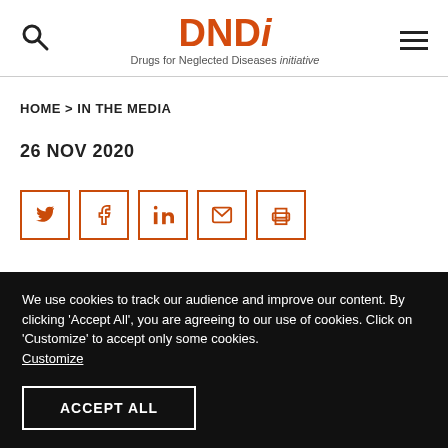DNDi – Drugs for Neglected Diseases initiative
HOME > IN THE MEDIA
26 NOV 2020
[Figure (other): Social sharing icon buttons: Twitter, Facebook, LinkedIn, Email, Print – each in an orange-bordered square]
We use cookies to track our audience and improve our content. By clicking 'Accept All', you are agreeing to our use of cookies. Click on 'Customize' to accept only some cookies. Customize
ACCEPT ALL